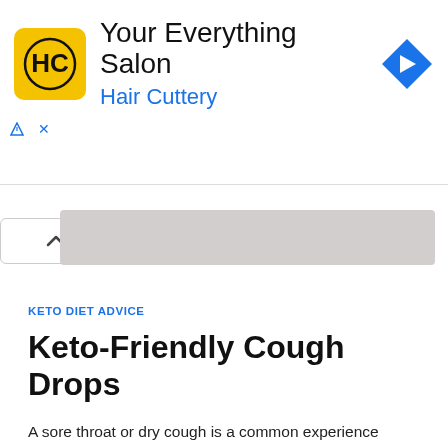[Figure (logo): Hair Cuttery advertisement banner with HC logo, 'Your Everything Salon' title, 'Hair Cuttery' subtitle in blue, and a blue diamond navigation arrow icon]
[Figure (other): Gray collapsed content bar with a chevron/up-arrow button on the left]
KETO DIET ADVICE
Keto-Friendly Cough Drops
A sore throat or dry cough is a common experience during the initial stage of your keto diet. Dehydration, deficiency in electrolytes, and hormonal imbalances are the main culprits. So, you want to use cough drops to relieve your keto cough. However, you are